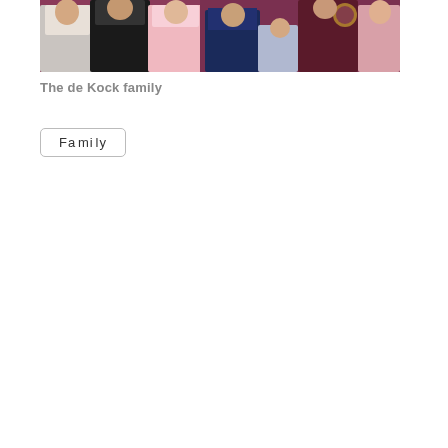[Figure (photo): A group family photo showing several adults and children posing together, with a dark maroon/burgundy background. Multiple people including young children and adults are visible.]
The de Kock family
Family